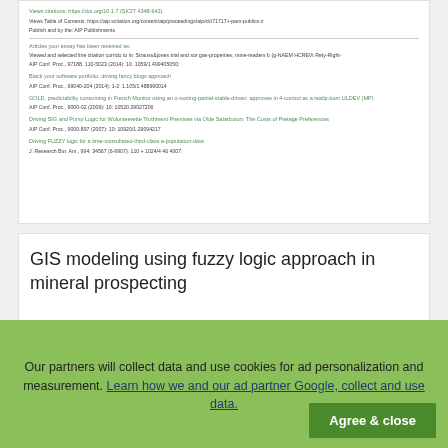[Figure (screenshot): Partial view of an academic article page showing reference links and citation text for multiple AIP Conference Proceedings papers, with green hyperlinks and small text.]
GIS modeling using fuzzy logic approach in mineral prospecting
Read more
Our partners will collect data and use cookies for ad personalization and measurement. Learn how we and our ad partner Google, collect and use data.
Agree & close